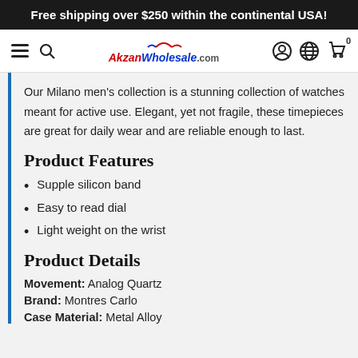Free shipping over $250 within the continental USA!
[Figure (screenshot): Website navigation bar with hamburger menu, search icon, AkzanWholesale.com logo, user account icon, globe icon, and cart icon with badge 0]
Our Milano men's collection is a stunning collection of watches meant for active use. Elegant, yet not fragile, these timepieces are great for daily wear and are reliable enough to last.
Product Features
Supple silicon band
Easy to read dial
Light weight on the wrist
Product Details
Movement: Analog Quartz
Brand: Montres Carlo
Case Material: Metal Alloy